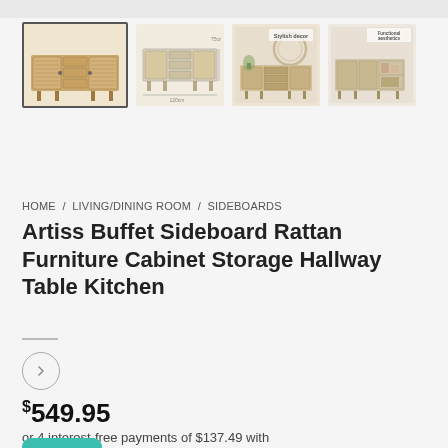[Figure (photo): Four product thumbnail images of a rattan buffet sideboard cabinet shown from different angles and in room settings. The first (selected/highlighted) shows the cabinet from the front. The second shows a diagram/line-drawing style view with dimensions. The third shows a styled decor scene with text 'Stylish decor'. The fourth shows it in a functional setting with text 'Functional aesthetics'.]
HOME / LIVING/DINING ROOM / SIDEBOARDS
Artiss Buffet Sideboard Rattan Furniture Cabinet Storage Hallway Table Kitchen
$549.95
or 4 interest-free payments of $137.49 with